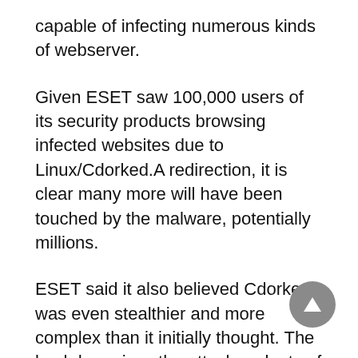capable of infecting numerous kinds of webserver.
Given ESET saw 100,000 users of its security products browsing infected websites due to Linux/Cdorked.A redirection, it is clear many more will have been touched by the malware, potentially millions.
ESET said it also believed Cdorked was even stealthier and more complex than it initially thought. The backdoor gives the attacker plenty of targeting ability, by using a range of blacklists and whitelists, which includes blacklists for certain languages, such as